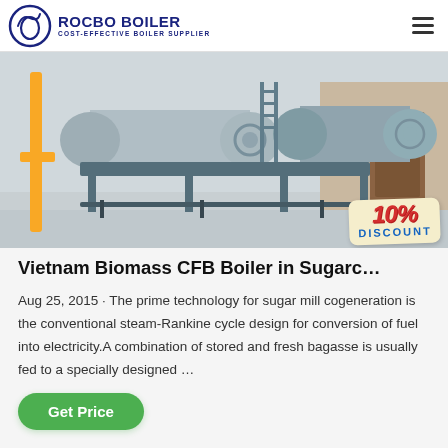ROCBO BOILER COST-EFFECTIVE BOILER SUPPLIER
[Figure (photo): Industrial boiler equipment in a factory building — large blue cylindrical boilers mounted on metal frames, with yellow pipes and piping visible, inside a white-walled facility. A 10% DISCOUNT badge is overlaid in the bottom-right corner.]
Vietnam Biomass CFB Boiler in Sugarc…
Aug 25, 2015 · The prime technology for sugar mill cogeneration is the conventional steam-Rankine cycle design for conversion of fuel into electricity.A combination of stored and fresh bagasse is usually fed to a specially designed …
Get Price